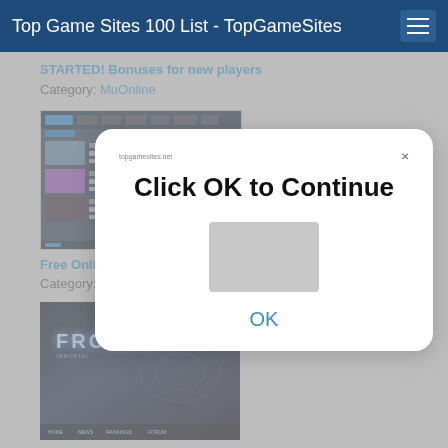Top Game Sites 100 List - TopGameSites
STARTED! Bonuses for new players
Category: MuOnline
[Figure (screenshot): Screenshot of a gaming website with dark navigation bar and thumbnail article listings]
Free Online Games - Vinteract
Category: General Gaming Sites
[Figure (screenshot): Screenshot of Frozen gaming website with dark blue background and game title FROZEN]
[Figure (screenshot): Modal dialog popup with text 'Click OK to Continue' and a blue OK link button]